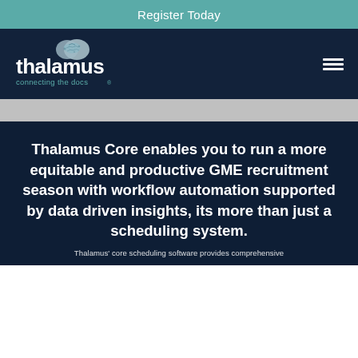Register Today
[Figure (logo): Thalamus logo with brain graphic and tagline 'connecting the docs']
Thalamus Core enables you to run a more equitable and productive GME recruitment season with workflow automation supported by data driven insights, its more than just a scheduling system.
Thalamus' core scheduling software provides comprehensive